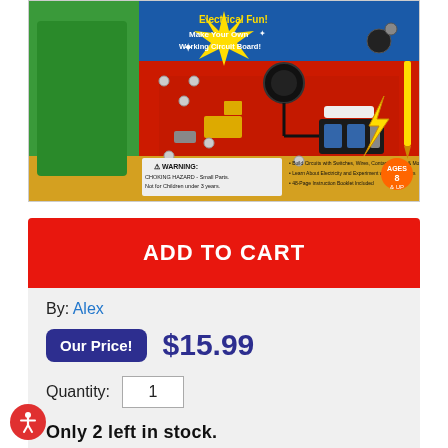[Figure (photo): Product image of an electrical circuit board building kit in a colorful box. The box shows a red circuit board with switches, wires, batteries, and components. Text on the box reads 'Electrical Fun! Make Your Own Working Circuit Board!' with a WARNING label for choking hazard for children under 3 years.]
ADD TO CART
By: Alex
Our Price! $15.99
Quantity: 1
Only 2 left in stock.
Rockville